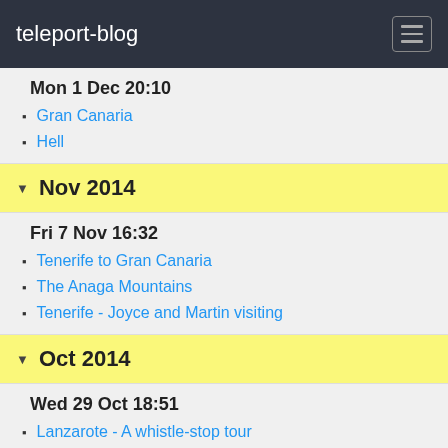teleport-blog
Mon 1 Dec 20:10
Gran Canaria
Hell
Nov 2014
Fri 7 Nov 16:32
Tenerife to Gran Canaria
The Anaga Mountains
Tenerife - Joyce and Martin visiting
Oct 2014
Wed 29 Oct 18:51
Lanzarote - A whistle-stop tour
Mon 13 Oct 16:24
Isla Graciosa
Tue 7 Oct 13:14
Change of Plan
Lies, Damn Lies, and Statistics